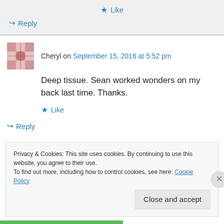Like
Reply
Cheryl on September 15, 2016 at 5:52 pm
Deep tissue. Sean worked wonders on my back last time. Thanks.
Like
Reply
Privacy & Cookies: This site uses cookies. By continuing to use this website, you agree to their use.
To find out more, including how to control cookies, see here: Cookie Policy
Close and accept